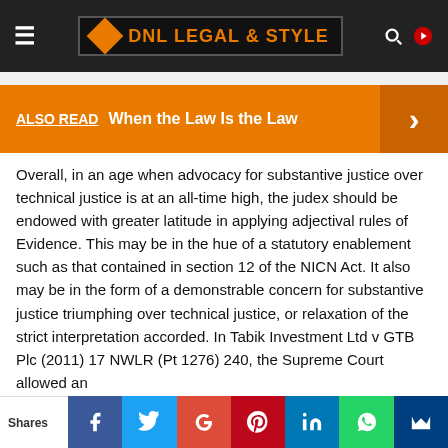DNL LEGAL & STYLE
ALSO READ   When the Law Is the Law
Overall, in an age when advocacy for substantive justice over technical justice is at an all-time high, the judex should be endowed with greater latitude in applying adjectival rules of Evidence. This may be in the hue of a statutory enablement such as that contained in section 12 of the NICN Act. It also may be in the form of a demonstrable concern for substantive justice triumphing over technical justice, or relaxation of the strict interpretation accorded. In Tabik Investment Ltd v GTB Plc (2011) 17 NWLR (Pt 1276) 240, the Supreme Court allowed an
Shares